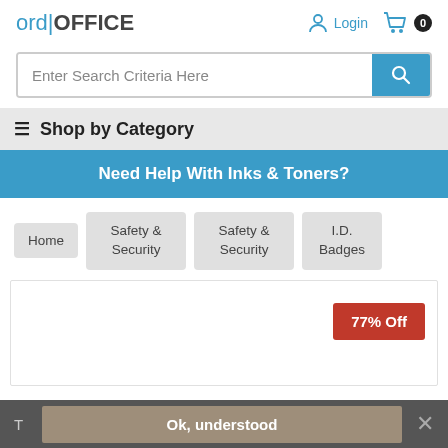[Figure (logo): ord|OFFICE logo in blue and dark text]
[Figure (screenshot): Login icon and cart icon with 0 badge]
Enter Search Criteria Here
≡ Shop by Category
Need Help With Inks & Toners?
Home
Safety & Security
Safety & Security
I.D. Badges
77% Off
T  Ok, understood  ✕